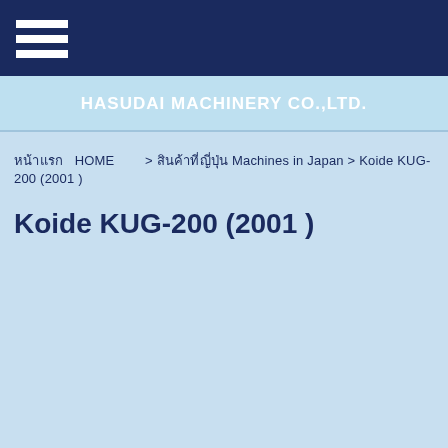HASUDAI MACHINERY CO.,LTD.
หน้าแรก  HOME  > สินค้าที่ญี่ปุ่น Machines in Japan > Koide KUG-200 (2001 )
Koide KUG-200 (2001 )